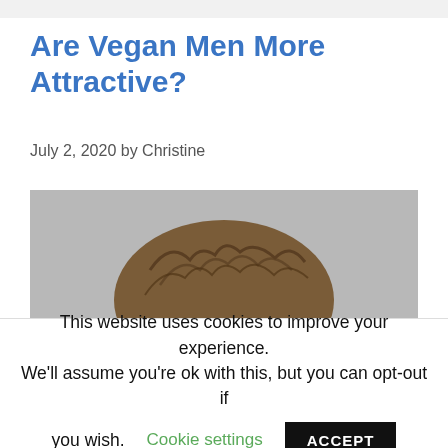Are Vegan Men More Attractive?
July 2, 2020 by Christine
[Figure (photo): Top of a man's head with short brown hair against a gray background]
This website uses cookies to improve your experience. We'll assume you're ok with this, but you can opt-out if you wish. Cookie settings ACCEPT